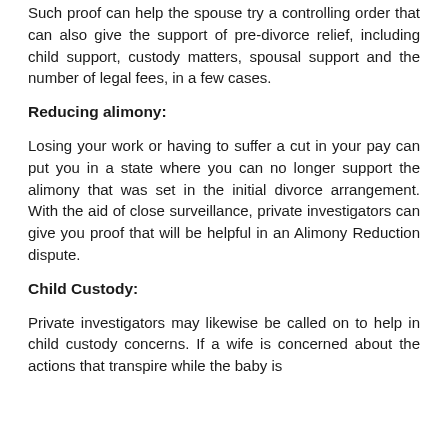Such proof can help the spouse try a controlling order that can also give the support of pre-divorce relief, including child support, custody matters, spousal support and the number of legal fees, in a few cases.
Reducing alimony:
Losing your work or having to suffer a cut in your pay can put you in a state where you can no longer support the alimony that was set in the initial divorce arrangement. With the aid of close surveillance, private investigators can give you proof that will be helpful in an Alimony Reduction dispute.
Child Custody:
Private investigators may likewise be called on to help in child custody concerns. If a wife is concerned about the actions that transpire while the baby is